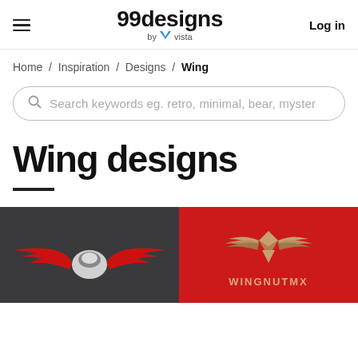99designs by vista | Log in
Home / Inspiration / Designs / Wing
Search keywords eg. retro, minimal, bear, myster
Wing designs
[Figure (illustration): Two logo design thumbnails side by side: left is a dark gray background with a red and white winged emblem; right is a red background with a tan/gold winged crest above the text WINGNUTMX]